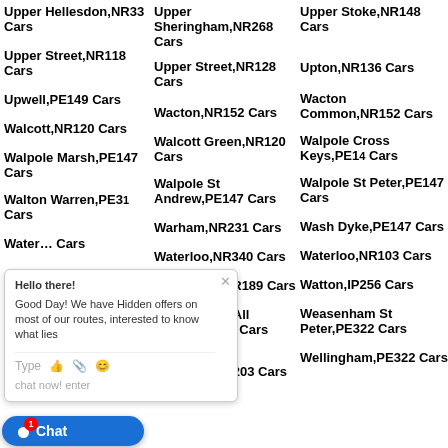Upper Hellesdon,NR33 Cars
Upper Street,NR118 Cars
Upwell,PE149 Cars
Walcott,NR120 Cars
Walpole Marsh,PE147 Cars
Walton Warren,PE31 Cars
Waterford Cars
Watlington Cars
Waxham Cars
Weybourne,NR203 Cars
Upper Sheringham,NR268 Cars
Upper Street,NR128 Cars
Wacton,NR152 Cars
Walcott Green,NR120 Cars
Walpole St Andrew,PE147 Cars
Warham,NR231 Cars
Waterloo,NR340 Cars
Wattlefield,NR189 Cars
Weasenham All Saints,PE322 Cars
Welborne Common,NR203 Cars
Upper Stoke,NR148 Cars
Upton,NR136 Cars
Wacton Common,NR152 Cars
Walpole Cross Keys,PE14 Cars
Walpole St Peter,PE147 Cars
Wash Dyke,PE147 Cars
Waterloo,NR103 Cars
Watton,IP256 Cars
Weasenham St Peter,PE322 Cars
Wellingham,PE322 Cars